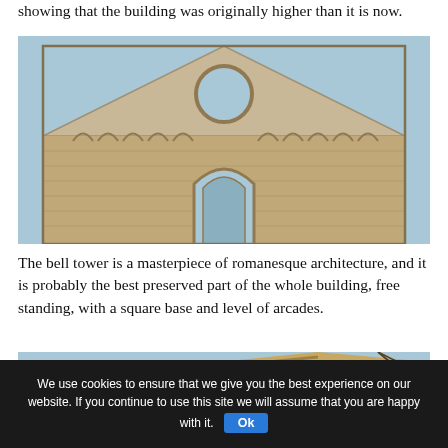showing that the building was originally higher than it is now.
[Figure (photo): Photograph of the facade of a romanesque stone church ruin with a triangular gable, a large circular oculus window at the top, arched blind arcading below, and a central arched doorway opening, against a blue sky.]
The bell tower is a masterpiece of romanesque architecture, and it is probably the best preserved part of the whole building, free standing, with a square base and level of arcades.
[Figure (photo): Partial photograph of a building structure against a blue sky with a tree branch visible.]
We use cookies to ensure that we give you the best experience on our website. If you continue to use this site we will assume that you are happy with it.